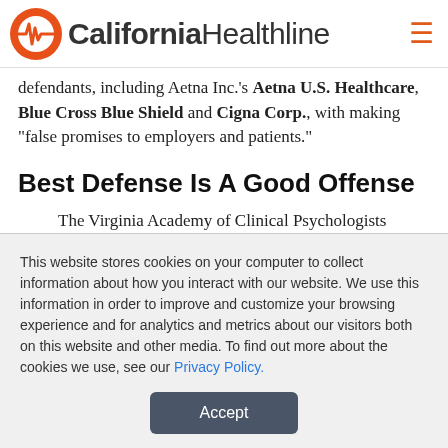California Healthline
defendants, including Aetna Inc.'s Aetna U.S. Healthcare, Blue Cross Blue Shield and Cigna Corp., with making "false promises to employers and patients."
Best Defense Is A Good Offense
The Virginia Academy of Clinical Psychologists yesterday filed suit against Blue Cross Blue Shield of the National Capital Area, alleging that the Blues CapitalCare HMO "trumpeted a generous mental health benefit of up to 20 therapy sessions a year," only to
This website stores cookies on your computer to collect information about how you interact with our website. We use this information in order to improve and customize your browsing experience and for analytics and metrics about our visitors both on this website and other media. To find out more about the cookies we use, see our Privacy Policy.